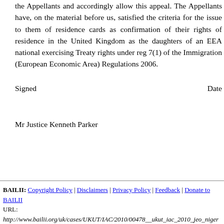the Appellants and accordingly allow this appeal. The Appellants have, on the material before us, satisfied the criteria for the issue to them of residence cards as confirmation of their rights of residence in the United Kingdom as the daughters of an EEA national exercising Treaty rights under reg 7(1) of the Immigration (European Economic Area) Regulations 2006.
Signed    Date
Mr Justice Kenneth Parker
BAILII: Copyright Policy | Disclaimers | Privacy Policy | Feedback | Donate to BAILII
URL:
http://www.bailii.org/uk/cases/UKUT/IAC/2010/00478__ukut_iac_2010_jeo_niger